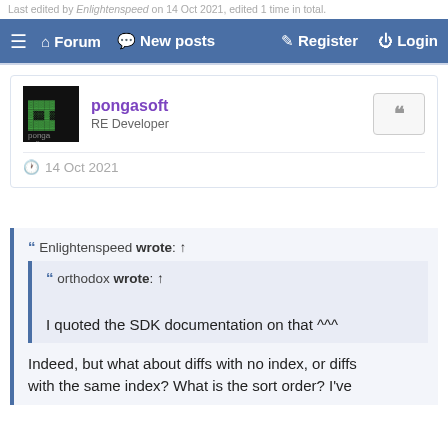Last edited by Enlightenspeed on 14 Oct 2021, edited 1 time in total.
Forum  New posts  Register  Login
pongasoft
RE Developer
14 Oct 2021
Enlightenspeed wrote: ↑
orthodox wrote: ↑
I quoted the SDK documentation on that ^^^
Indeed, but what about diffs with no index, or diffs with the same index? What is the sort order? I've